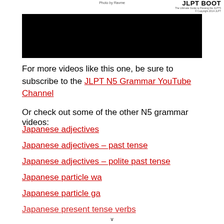Photo by Ravme | JLPT BOOT | The Ultimate Guide to Passing the JLPT5 | © Copyright 2014 JLPT
[Figure (other): Black video thumbnail/embed box]
For more videos like this one, be sure to subscribe to the JLPT N5 Grammar YouTube Channel
Or check out some of the other N5 grammar videos:
Japanese adjectives
Japanese adjectives – past tense
Japanese adjectives – polite past tense
Japanese particle wa
Japanese particle ga
Japanese present tense verbs
v